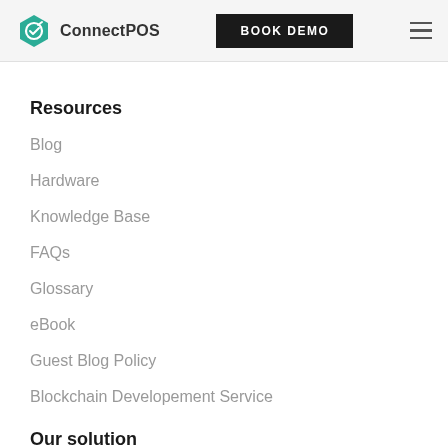ConnectPOS | BOOK DEMO
Resources
Blog
Hardware
Knowledge Base
FAQs
Glossary
eBook
Guest Blog Policy
Blockchain Developement Service
Our solution